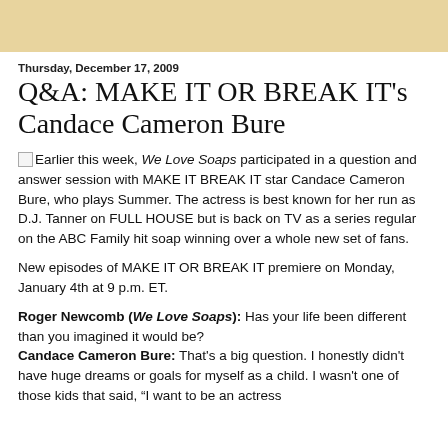Thursday, December 17, 2009
Q&A: MAKE IT OR BREAK IT's Candace Cameron Bure
Earlier this week, We Love Soaps participated in a question and answer session with MAKE IT BREAK IT star Candace Cameron Bure, who plays Summer. The actress is best known for her run as D.J. Tanner on FULL HOUSE but is back on TV as a series regular on the ABC Family hit soap winning over a whole new set of fans.
New episodes of MAKE IT OR BREAK IT premiere on Monday, January 4th at 9 p.m. ET.
Roger Newcomb (We Love Soaps): Has your life been different than you imagined it would be?
Candace Cameron Bure: That's a big question. I honestly didn't have huge dreams or goals for myself as a child. I wasn't one of those kids that said, "I want to be an actress